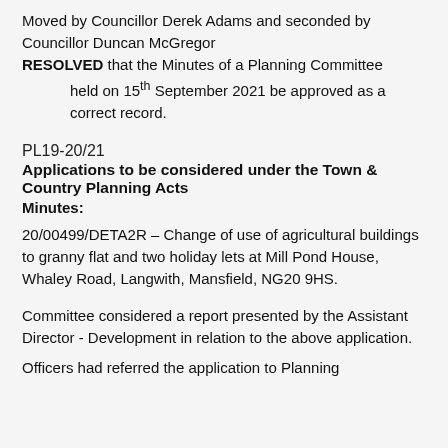Moved by Councillor Derek Adams and seconded by Councillor Duncan McGregor
RESOLVED that the Minutes of a Planning Committee held on 15th September 2021 be approved as a correct record.
PL19-20/21
Applications to be considered under the Town & Country Planning Acts
Minutes:
20/00499/DETA2R – Change of use of agricultural buildings to granny flat and two holiday lets at Mill Pond House, Whaley Road, Langwith, Mansfield, NG20 9HS.
Committee considered a report presented by the Assistant Director - Development in relation to the above application.
Officers had referred the application to Planning